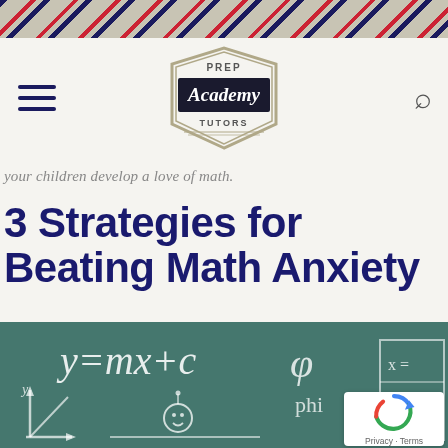[Figure (other): Diagonal stripe pattern header bar in navy, red, and tan/beige colors]
[Figure (logo): Prep Academy Tutors logo — shield/badge shape with 'PREP' at top, 'Academy' in cursive script on dark banner, 'TUTORS' at bottom]
your children develop a love of math.
3 Strategies for Beating Math Anxiety
[Figure (illustration): Chalkboard illustration with chalk-drawn math equations and doodles: y=mx+c, phi symbol, x= equations, coordinate axes, and cartoon stick figures]
[Figure (other): reCAPTCHA privacy badge in bottom right corner, showing recycling/refresh icon, Privacy and Terms text]